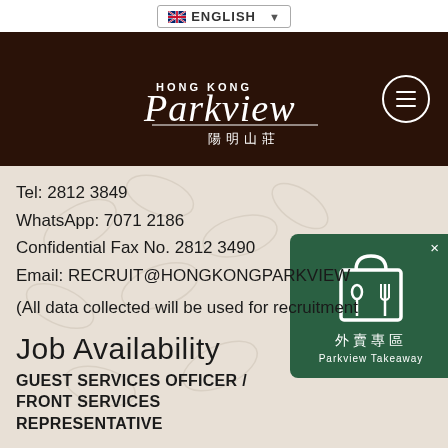ENGLISH (language selector)
[Figure (logo): Hong Kong Parkview logo with Chinese characters 陽明山莊 on dark brown background, with hamburger menu icon]
Tel: 2812 3849
WhatsApp: 7071 2186
Confidential Fax No. 2812 3490
Email: RECRUIT@HONGKONGPARKVIEW
(All data collected will be used for recruitment
[Figure (illustration): Parkview Takeaway popup banner in dark green with utensils icon and Chinese text 外賣專區]
Job Availability
GUEST SERVICES OFFICER / FRONT SERVICES REPRESENTATIVE